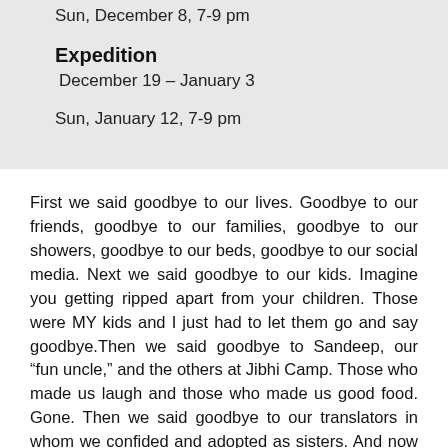Sun, December 8, 7-9 pm
Expedition
December 19 – January 3
Sun, January 12, 7-9 pm
First we said goodbye to our lives. Goodbye to our friends, goodbye to our families, goodbye to our showers, goodbye to our beds, goodbye to our social media. Next we said goodbye to our kids. Imagine you getting ripped apart from your children. Those were MY kids and I just had to let them go and say goodbye.Then we said goodbye to Sandeep, our “fun uncle,” and the others at Jibhi Camp. Those who made us laugh and those who made us good food. Gone. Then we said goodbye to our translators in whom we confided and adopted as sisters. And now we have to say goodbye to the monkeys outside my window, to Raj, the man behind it all, and goodbye to India. I am